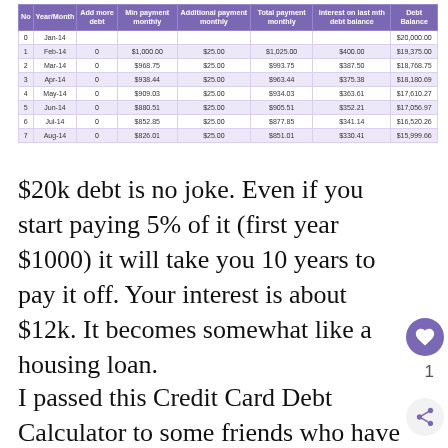| No | Year/Month | Add more debt | Min payment monthly | Additional payment monthly | Total payment monthly | Interest on last mth debt balance | Debt Balance |
| --- | --- | --- | --- | --- | --- | --- | --- |
| 0 | Jan-14 |  |  |  |  |  | $20,000.00 |
| 1 | Feb-14 | 0 | $1,000.00 | $25.00 | $1,025.00 | $400.00 | $19,375.00 |
| 2 | Mar-14 | 0 | $968.75 | $25.00 | $993.75 | $387.50 | $18,768.75 |
| 3 | Apr-14 | 0 | $938.44 | $25.00 | $963.44 | $375.38 | $18,180.69 |
| 4 | May-14 | 0 | $909.03 | $25.00 | $934.03 | $363.61 | $17,610.27 |
| 5 | Jun-14 | 0 | $880.51 | $25.00 | $905.51 | $352.21 | $17,056.97 |
| 6 | Jul-14 | 0 | $852.85 | $25.00 | $877.85 | $341.14 | $16,520.26 |
| 7 | Aug-14 | 0 | $826.01 | $25.00 | $851.01 | $330.41 | $15,999.66 |
$20k debt is no joke. Even if you start paying 5% of it (first year $1000) it will take you 10 years to pay it off. Your interest is about $12k. It becomes somewhat like a housing loan.
I passed this Credit Card Debt Calculator to some friends who have problems with debt